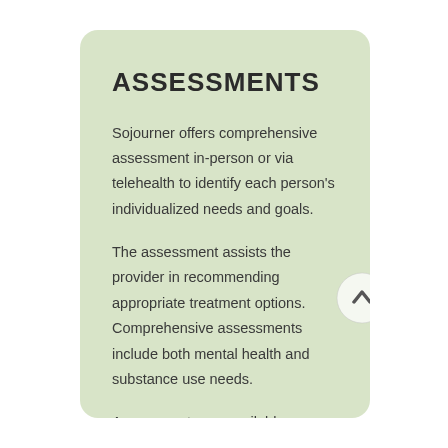ASSESSMENTS
Sojourner offers comprehensive assessment in-person or via telehealth to identify each person's individualized needs and goals.
The assessment assists the provider in recommending appropriate treatment options. Comprehensive assessments include both mental health and substance use needs.
Assessments are available Monday through Friday through walk-in hours.